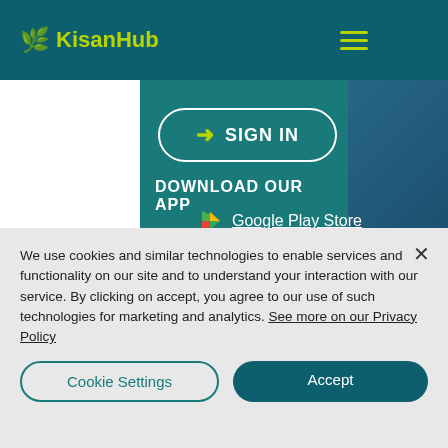KisanHub
SIGN IN
DOWNLOAD OUR APP
Google Play Store
Apple App Store
We use cookies and similar technologies to enable services and functionality on our site and to understand your interaction with our service. By clicking on accept, you agree to our use of such technologies for marketing and analytics. See more on our Privacy Policy
Cookie Settings
Accept